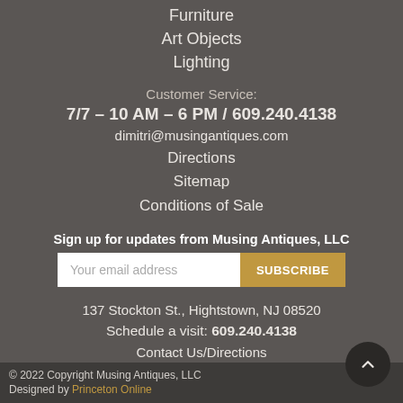Furniture
Art Objects
Lighting
Customer Service:
7/7 – 10 AM – 6 PM / 609.240.4138
dimitri@musingantiques.com
Directions
Sitemap
Conditions of Sale
Sign up for updates from Musing Antiques, LLC
Your email address    SUBSCRIBE
137 Stockton St., Hightstown, NJ 08520
Schedule a visit: 609.240.4138
Contact Us/Directions
© 2022 Copyright Musing Antiques, LLC
Designed by Princeton Online